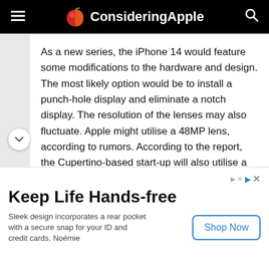ConsideringApple
As a new series, the iPhone 14 would feature some modifications to the hardware and design. The most likely option would be to install a punch-hole display and eliminate a notch display. The resolution of the lenses may also fluctuate. Apple might utilise a 48MP lens, according to rumors. According to the report, the Cupertino-based start-up will also utilise a 120Hz refresh rate panel.
Similarly, the design of the iPhone SE 3 2022 has changed. It’s possible that the circular home button will be replaced with gesture navigation. To
Keep Life Hands-free
Sleek design incorporates a rear pocket with a secure snap for your ID and credit cards. Noémie
Shop Now